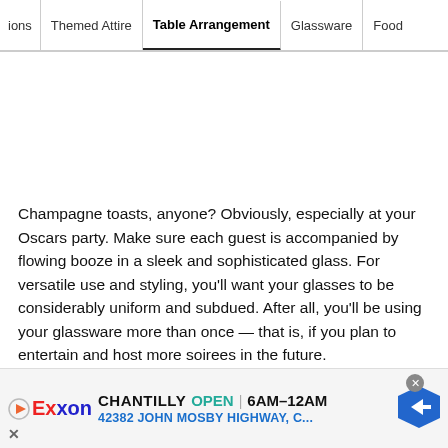ions | Themed Attire | Table Arrangement | Glassware | Food
Champagne toasts, anyone? Obviously, especially at your Oscars party. Make sure each guest is accompanied by flowing booze in a sleek and sophisticated glass. For versatile use and styling, you'll want your glasses to be considerably uniform and subdued. After all, you'll be using your glassware more than once — that is, if you plan to entertain and host more soirees in the future.
[Figure (infographic): Advertisement banner for Exxon gas station in Chantilly, showing OPEN 6AM-12AM and address 42382 JOHN MOSBY HIGHWAY, C...]